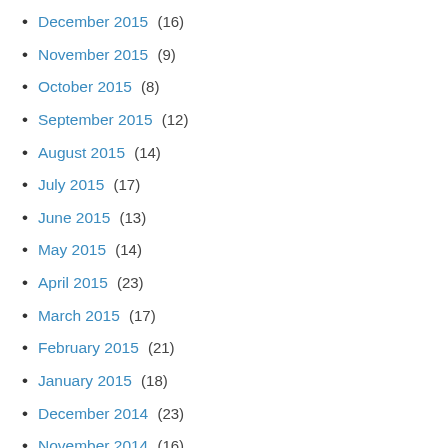December 2015 (16)
November 2015 (9)
October 2015 (8)
September 2015 (12)
August 2015 (14)
July 2015 (17)
June 2015 (13)
May 2015 (14)
April 2015 (23)
March 2015 (17)
February 2015 (21)
January 2015 (18)
December 2014 (23)
November 2014 (16)
October 2014 (21)
September 2014 (16)